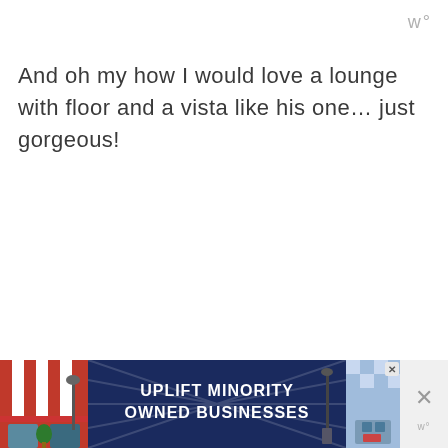w°
And oh my how I would love a lounge with floor and a vista like his one… just gorgeous!
[Figure (infographic): Advertisement banner for 'Uplift Minority Owned Businesses' with storefront illustrations on left and right, navy blue center with white bold text, and close buttons on right side.]